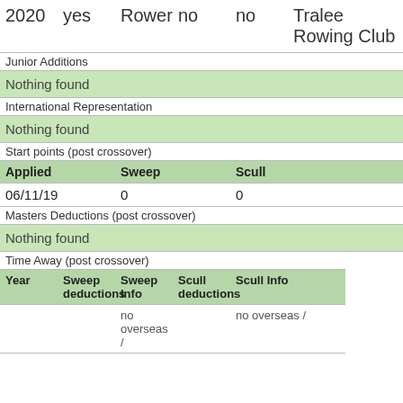| 2020 | yes | Rower | no | no | Tralee Rowing Club |
| Junior Additions |
| Nothing found |
| International Representation |
| Nothing found |
| Start points (post crossover) |
| Applied |  | Sweep |  | Scull |  |
| 06/11/19 |  | 0 |  | 0 |  |
| Masters Deductions (post crossover) |
| Nothing found |
| Time Away (post crossover) |
| Year | Sweep deductions | Sweep Info | Scull deductions | Scull Info |
|  |  | no overseas / |  | no overseas / |